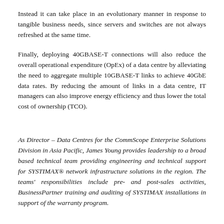Instead it can take place in an evolutionary manner in response to tangible business needs, since servers and switches are not always refreshed at the same time.
Finally, deploying 40GBASE-T connections will also reduce the overall operational expenditure (OpEx) of a data centre by alleviating the need to aggregate multiple 10GBASE-T links to achieve 40GbE data rates. By reducing the amount of links in a data centre, IT managers can also improve energy efficiency and thus lower the total cost of ownership (TCO).
As Director – Data Centres for the CommScope Enterprise Solutions Division in Asia Pacific, James Young provides leadership to a broad based technical team providing engineering and technical support for SYSTIMAX® network infrastructure solutions in the region. The teams' responsibilities include pre- and post-sales activities, BusinessPartner training and auditing of SYSTIMAX installations in support of the warranty program.